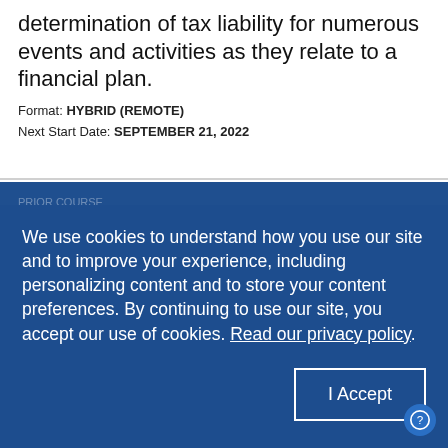determination of tax liability for numerous events and activities as they relate to a financial plan.
Format: HYBRID (REMOTE)
Next Start Date: SEPTEMBER 21, 2022
We use cookies to understand how you use our site and to improve your experience, including personalizing content and to store your content preferences. By continuing to use our site, you accept our use of cookies. Read our privacy policy.
I Accept
Insurance in Personal Financial Planning
This course analyzes fundamental insurance principles and the role insurance plays in financial and estate planning.
International Finance
This course provides an introduction to the environment and tools of international financial management. Case studies examine the use of analytical methods for decision making.
Next Start Date: TBA